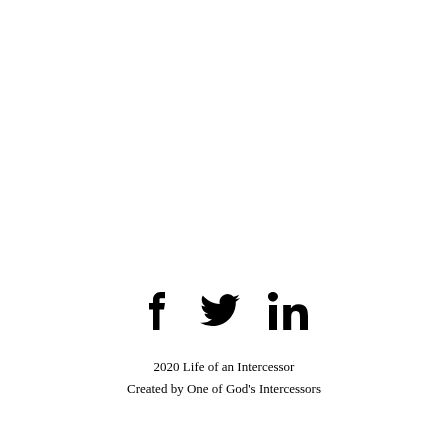[Figure (other): Social media icons: Facebook (f), Twitter (bird), LinkedIn (in)]
2020 Life of an Intercessor
Created by One of God's Intercessors